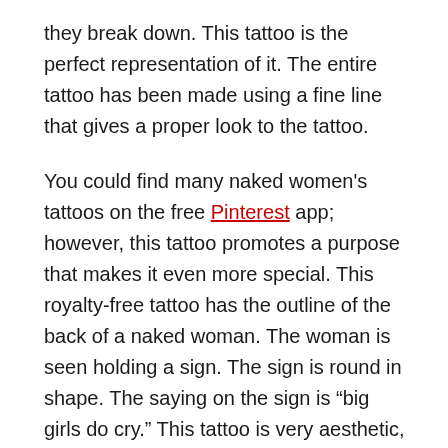they break down. This tattoo is the perfect representation of it. The entire tattoo has been made using a fine line that gives a proper look to the tattoo.
You could find many naked women's tattoos on the free Pinterest app; however, this tattoo promotes a purpose that makes it even more special. This royalty-free tattoo has the outline of the back of a naked woman. The woman is seen holding a sign. The sign is round in shape. The saying on the sign is “big girls do cry.” This tattoo is very aesthetic, and you can get this on your back, thigh, or arm.
Half Naked Women Tattoo